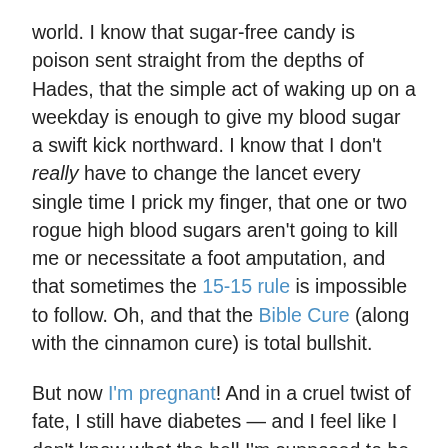world. I know that sugar-free candy is poison sent straight from the depths of Hades, that the simple act of waking up on a weekday is enough to give my blood sugar a swift kick northward. I know that I don't really have to change the lancet every single time I prick my finger, that one or two rogue high blood sugars aren't going to kill me or necessitate a foot amputation, and that sometimes the 15-15 rule is impossible to follow. Oh, and that the Bible Cure (along with the cinnamon cure) is total bullshit.
But now I'm pregnant! And in a cruel twist of fate, I still have diabetes — and I feel like I don't know what the hell I'm supposed to be doing. I'm lucky enough to have some smart, supportive PWD mommies in my life, and that has definitely helped. As has my attachment to Cheryl Alkon's Balancing Pregnancy with Pre-existing Diabetes, a